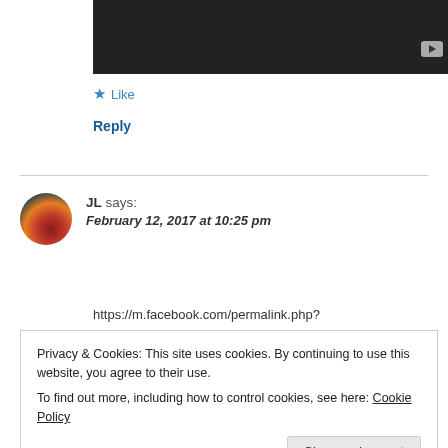[Figure (screenshot): Dark video thumbnail with YouTube play button in bottom right corner]
★ Like
Reply
JL says: February 12, 2017 at 10:25 pm
https://m.facebook.com/permalink.php?
Privacy & Cookies: This site uses cookies. By continuing to use this website, you agree to their use.
To find out more, including how to control cookies, see here: Cookie Policy
Close and accept